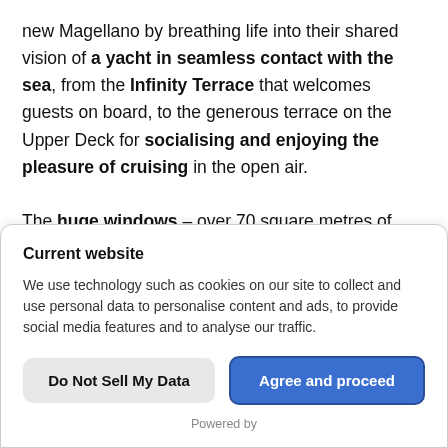new Magellano by breathing life into their shared vision of a yacht in seamless contact with the sea, from the Infinity Terrace that welcomes guests on board, to the generous terrace on the Upper Deck for socialising and enjoying the pleasure of cruising in the open air.

The huge windows – over 70 square metres of glazed surfaces – also ensure uninterrupted visual continuity between the interior spaces and the surrounding natural
Current website

We use technology such as cookies on our site to collect and use personal data to personalise content and ads, to provide social media features and to analyse our traffic.
Do Not Sell My Data
Agree and proceed
Powered by